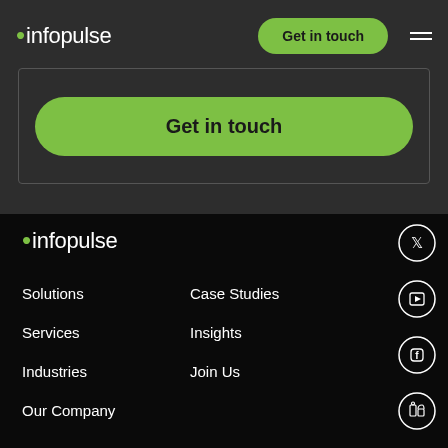[Figure (logo): Infopulse logo in white text with green dot, top navigation bar area]
Get in touch
[Figure (other): Hamburger menu icon (two white horizontal lines)]
Get in touch
[Figure (logo): Infopulse logo in white text with green dot, footer area]
Solutions
Case Studies
Services
Insights
Industries
Join Us
Our Company
[Figure (other): Twitter social media icon in circle]
[Figure (other): YouTube social media icon in circle]
[Figure (other): Facebook social media icon in circle]
[Figure (other): LinkedIn social media icon in circle]